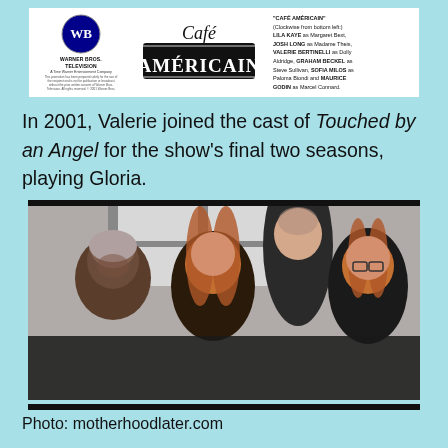[Figure (logo): Warner Bros. Television logo on the left, Café Américain stylized text logo in the center, and cast credits text on the right, all on white background]
In 2001, Valerie joined the cast of Touched by an Angel for the show's final two seasons, playing Gloria.
[Figure (photo): Four cast members of Touched by an Angel posing together smiling — one older Black woman with grey hair, one woman with long red hair in center, one tall man behind them, and Valerie Bertinelli on the right wearing glasses, all wearing dark clothing]
Photo: motherhoodlater.com